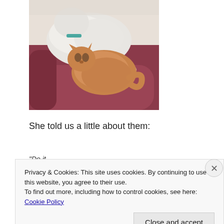[Figure (photo): A white dog and an orange/tan cat curled together on a dark red/maroon sofa cushion. The cat is nestled against the dog. The dog appears fluffy and white, the cat is orange-tan. Both are resting.]
She told us a little about them:
“Do it… [partial text cut off by cookie banner]
Privacy & Cookies: This site uses cookies. By continuing to use this website, you agree to their use.
To find out more, including how to control cookies, see here: Cookie Policy
Close and accept
HUFFPOST THE BLOG